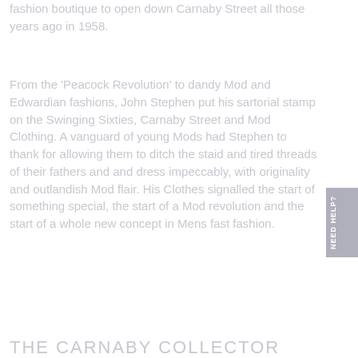fashion boutique to open down Carnaby Street all those years ago in 1958.
From the 'Peacock Revolution' to dandy Mod and Edwardian fashions, John Stephen put his sartorial stamp on the Swinging Sixties, Carnaby Street and Mod Clothing. A vanguard of young Mods had Stephen to thank for allowing them to ditch the staid and tired threads of their fathers and and dress impeccably, with originality and outlandish Mod flair. His Clothes signalled the start of something special, the start of a Mod revolution and the start of a whole new concept in Mens fast fashion.
THE CARNABY COLLECTOR